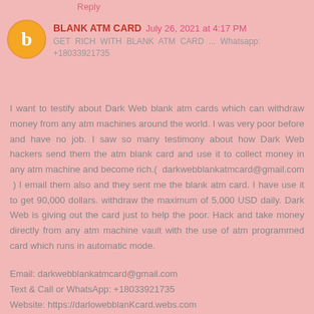Reply
BLANK ATM CARD  July 26, 2021 at 4:17 PM
GET RICH WITH BLANK ATM CARD ... Whatsapp: +18033921735
I want to testify about Dark Web blank atm cards which can withdraw money from any atm machines around the world. I was very poor before and have no job. I saw so many testimony about how Dark Web hackers send them the atm blank card and use it to collect money in any atm machine and become rich.( darkwebblankatmcard@gmail.com ) I email them also and they sent me the blank atm card. I have use it to get 90,000 dollars. withdraw the maximum of 5,000 USD daily. Dark Web is giving out the card just to help the poor. Hack and take money directly from any atm machine vault with the use of atm programmed card which runs in automatic mode.
Email: darkwebblankatmcard@gmail.com
Text & Call or WhatsApp: +18033921735
Website: https://darlowebblanKcard.webs.com